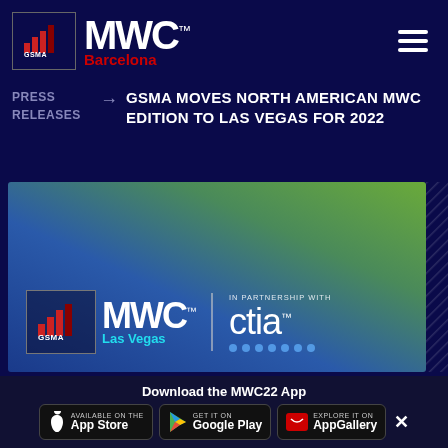[Figure (logo): MWC Barcelona logo with GSMA logo, white MWC text, red Barcelona subtitle, and hamburger menu icon on dark navy background]
PRESS RELEASES → GSMA MOVES NORTH AMERICAN MWC EDITION TO LAS VEGAS FOR 2022
[Figure (illustration): MWC Las Vegas promotional banner with blue-green gradient background featuring MWC Las Vegas logo and CTIA partnership logo]
Download the MWC22 App
[Figure (screenshot): App Store, Google Play, and AppGallery download buttons for the MWC22 App]